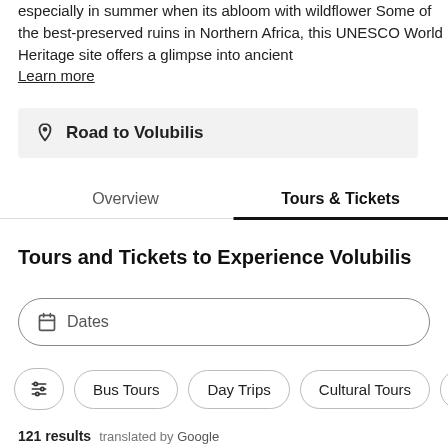especially in summer when its abloom with wildflower Some of the best-preserved ruins in Northern Africa, this UNESCO World Heritage site offers a glimpse into ancient
Learn more
Road to Volubilis
Overview
Tours & Tickets
Tours and Tickets to Experience Volubilis
Dates
Bus Tours
Day Trips
Cultural Tours
121 results  translated by Google